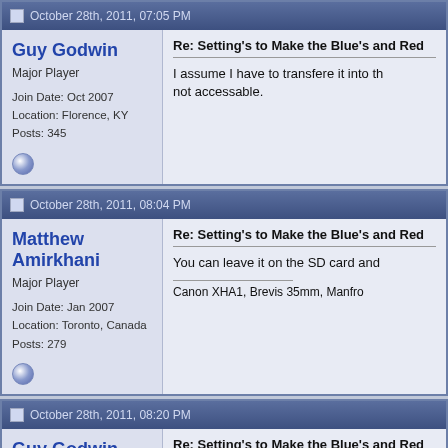October 28th, 2011, 07:05 PM
Guy Godwin
Major Player
Join Date: Oct 2007
Location: Florence, KY
Posts: 345
Re: Setting's to Make the Blue's and Red
I assume I have to transfere it into th not accessable.
October 28th, 2011, 08:04 PM
Matthew Amirkhani
Major Player
Join Date: Jan 2007
Location: Toronto, Canada
Posts: 279
Re: Setting's to Make the Blue's and Red
You can leave it on the SD card and
Canon XHA1, Brevis 35mm, Manfro
October 28th, 2011, 08:20 PM
Guy Godwin
Major Player
Join Date: Oct 2007
Location: Florence, KY
Posts: 345
Re: Setting's to Make the Blue's and Red
So can i have more than one preset